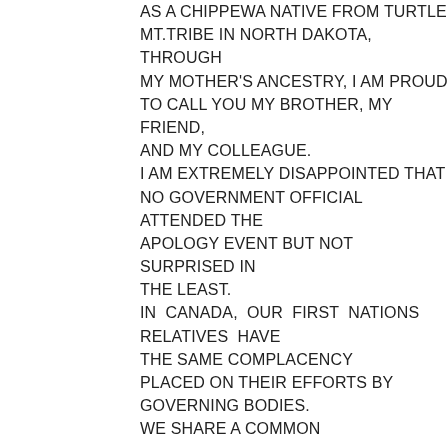AS A CHIPPEWA NATIVE FROM TURTLE MT.TRIBE IN NORTH DAKOTA, THROUGH MY MOTHER'S ANCESTRY, I AM PROUD TO CALL YOU MY BROTHER, MY FRIEND, AND MY COLLEAGUE. I AM EXTREMELY DISAPPOINTED THAT NO GOVERNMENT OFFICIAL ATTENDED THE APOLOGY EVENT BUT NOT SURPRISED IN THE LEAST. IN  CANADA,  OUR  FIRST  NATIONS  RELATIVES  HAVE THE SAME COMPLACENCY PLACED ON THEIR EFFORTS BY GOVERNING BODIES. WE SHARE A COMMON

TRAGEDY. I SALUTE YOUR EFFORTS AND I HOPE WE CAN CONTINUE THIS CHALLENGE TO HELP THOSE IN WASH,D.C,UNDERSTAND YOUR FRUSTRATIONS AND OUR DESIRES. LET'S NOT STOP HERE. I LEND MY TIME AND EFFORTS TO HELP OUT IN ANY WAY I CAN. DR.DON.BARTLETTE.NATIVE SPEAKER ON...